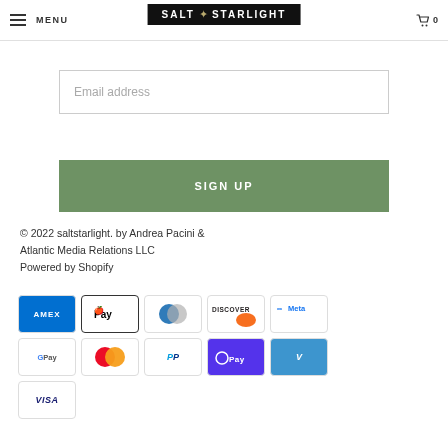MENU | SALT STARLIGHT | 0
Sign Up for our weekly Newsletter
Email address
SIGN UP
© 2022 saltstarlight. by Andrea Pacini & Atlantic Media Relations LLC
Powered by Shopify
[Figure (other): Payment method icons: American Express, Apple Pay, Diners Club, Discover, Meta, Google Pay, Mastercard, PayPal, Shop Pay, Venmo, Visa]